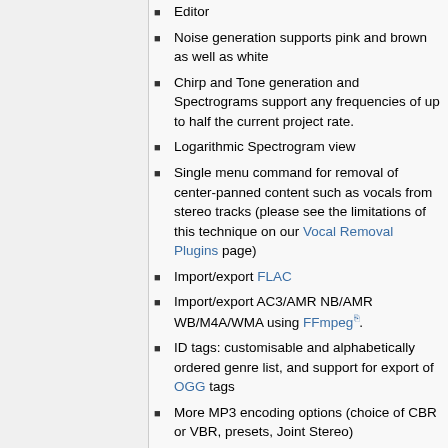Editor
Noise generation supports pink and brown as well as white
Chirp and Tone generation and Spectrograms support any frequencies of up to half the current project rate.
Logarithmic Spectrogram view
Single menu command for removal of center-panned content such as vocals from stereo tracks (please see the limitations of this technique on our Vocal Removal Plugins page)
Import/export FLAC
Import/export AC3/AMR NB/AMR WB/M4A/WMA using FFmpeg.
ID tags: customisable and alphabetically ordered genre list, and support for export of OGG tags
More MP3 encoding options (choice of CBR or VBR, presets, Joint Stereo)
Export to the imported WAV or AIFF file, even if Audacity preferences set to read that file directly rather than making a copy of it.